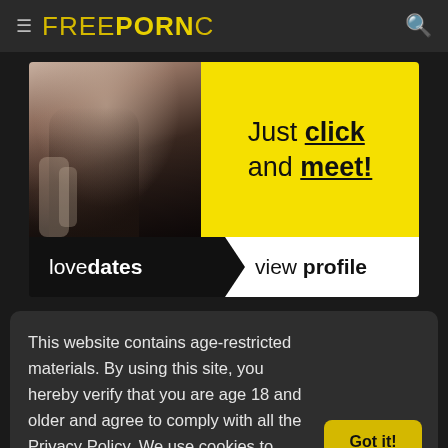FREEPORNC
[Figure (photo): Advertisement banner for lovedates showing a photo on the left, yellow section with 'Just click and meet!' text, and bottom bar with 'lovedates > view profile']
This website contains age-restricted materials. By using this site, you hereby verify that you are age 18 and older and agree to comply with all the Privacy Policy. We use cookies to provide you the best possible experience on our website and to monitor website traffic. Cookies Policy.